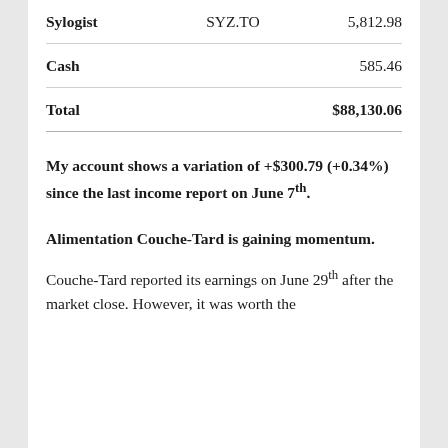|  | Ticker | Value |
| --- | --- | --- |
| Sylogist | SYZ.TO | 5,812.98 |
| Cash |  | 585.46 |
| Total |  | $88,130.06 |
My account shows a variation of +$300.79 (+0.34%) since the last income report on June 7th.
Alimentation Couche-Tard is gaining momentum.
Couche-Tard reported its earnings on June 29th after the market close. However, it was worth the